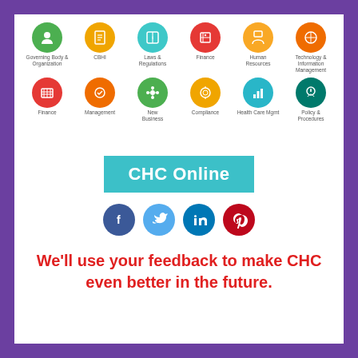[Figure (infographic): Two rows of six colored icon circles each with a label below: Row 1: Governing Body & Organization (green), CBHI (orange), Laws & Regulations (teal), Finance (red), Human Resources (yellow), Technology & Information Management (orange). Row 2: Finance (red), Management (orange), New Business (green), Compliance (orange), Health Care Mgmt (teal), Policy & Procedures (dark teal).]
[Figure (infographic): Teal rectangle banner with white bold text 'CHC Online']
[Figure (infographic): Four social media icon circles: Facebook (dark blue), Twitter (light blue), LinkedIn (blue), Pinterest (red)]
We'll use your feedback to make CHC even better in the future.